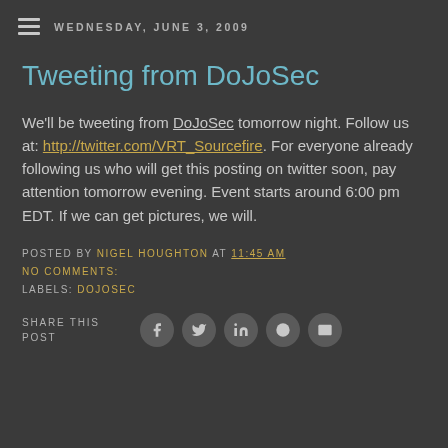WEDNESDAY, JUNE 3, 2009
Tweeting from DoJoSec
We'll be tweeting from DoJoSec tomorrow night. Follow us at: http://twitter.com/VRT_Sourcefire. For everyone already following us who will get this posting on twitter soon, pay attention tomorrow evening. Event starts around 6:00 pm EDT. If we can get pictures, we will.
POSTED BY NIGEL HOUGHTON AT 11:45 AM
NO COMMENTS:
LABELS: DOJOSEC
SHARE THIS POST